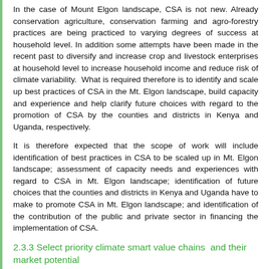In the case of Mount Elgon landscape, CSA is not new. Already conservation agriculture, conservation farming and agro-forestry practices are being practiced to varying degrees of success at household level. In addition some attempts have been made in the recent past to diversify and increase crop and livestock enterprises at household level to increase household income and reduce risk of climate variability.  What is required therefore is to identify and scale up best practices of CSA in the Mt. Elgon landscape, build capacity and experience and help clarify future choices with regard to the promotion of CSA by the counties and districts in Kenya and Uganda, respectively.
It is therefore expected that the scope of work will include identification of best practices in CSA to be scaled up in Mt. Elgon landscape; assessment of capacity needs and experiences with regard to CSA in Mt. Elgon landscape; identification of future choices that the counties and districts in Kenya and Uganda have to make to promote CSA in Mt. Elgon landscape; and identification of the contribution of the public and private sector in financing the implementation of CSA.
2.3.3 Select priority climate smart value chains  and their market potential
The selection of priority climate smart value chains and their market potential will take into consideration the CSA best practices (to be identified in 5.2 above) that will be promoted in Mt. Elgon landscape. This activity will lay the ground for the other components (i.e. 5.2,5.4,5.5) since it will define the scope of private sector involvement in PPP and the type and nature of extension services